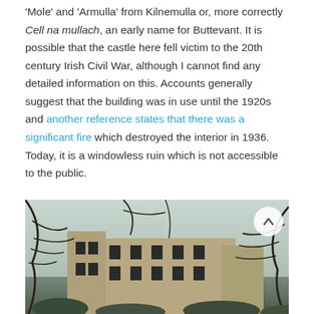'Mole' and 'Armulla' from Kilnemulla or, more correctly Cell na mullach, an early name for Buttevant. It is possible that the castle here fell victim to the 20th century Irish Civil War, although I cannot find any detailed information on this. Accounts generally suggest that the building was in use until the 1920s and another reference states that there was a significant fire which destroyed the interior in 1936. Today, it is a windowless ruin which is not accessible to the public.
[Figure (photo): Photograph of a ruined castle viewed through bare tree branches, showing a stone building with empty window openings, surrounded by trees in winter.]